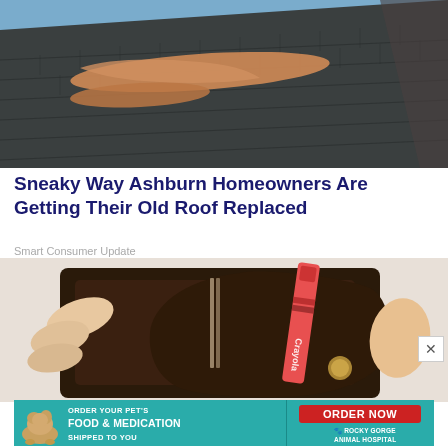[Figure (photo): Close-up photo of a damaged roof with dark shingles showing missing/peeled patches revealing the orange/tan underlayment beneath.]
Sneaky Way Ashburn Homeowners Are Getting Their Old Roof Replaced
Smart Consumer Update
[Figure (photo): Close-up photo of a hand inserting a red Crayola crayon into a dark leather wallet with coins visible.]
[Figure (infographic): Advertisement banner for Rocky Gorge Animal Hospital: 'ORDER YOUR PET'S FOOD & MEDICATION SHIPPED TO YOU' with an ORDER NOW button, featuring a golden retriever dog image.]